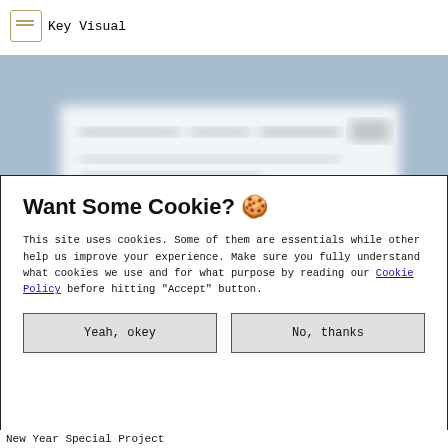Key Visual
[Figure (screenshot): Blurred screenshot of a webpage shown as a hero/banner image behind the cookie consent modal. Blueish-gray background with white content area visible in the lower portion.]
Want Some Cookie? 🍪
This site uses cookies. Some of them are essentials while other help us improve your experience. Make sure you fully understand what cookies we use and for what purpose by reading our Cookie Policy before hitting "Accept" button.
Yeah, okey
No, thanks
New Year Special Project